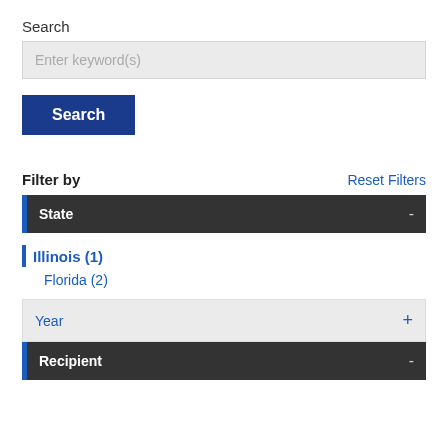Search
Enter keyword(s)
Search
Filter by   Reset Filters
State -
Illinois (1)
Florida (2)
Year +
Recipient -